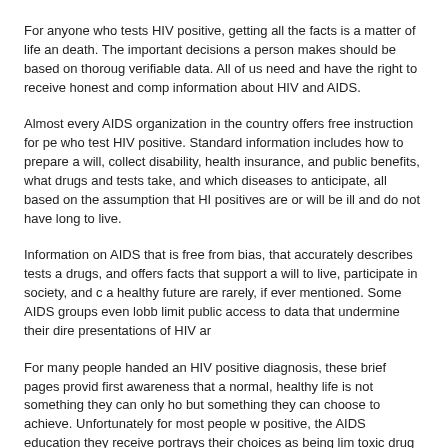For anyone who tests HIV positive, getting all the facts is a matter of life and death. The important decisions a person makes should be based on thorough, verifiable data. All of us need and have the right to receive honest and complete information about HIV and AIDS.
Almost every AIDS organization in the country offers free instruction for people who test HIV positive. Standard information includes how to prepare a will, collect disability, health insurance, and public benefits, what drugs and tests to take, and which diseases to anticipate, all based on the assumption that HIV positives are or will be ill and do not have long to live.
Information on AIDS that is free from bias, that accurately describes tests and drugs, and offers facts that support a will to live, participate in society, and create a healthy future are rarely, if ever mentioned. Some AIDS groups even lobby to limit public access to data that undermine their dire presentations of HIV and
For many people handed an HIV positive diagnosis, these brief pages provide the first awareness that a normal, healthy life is not something they can only hope for, but something they can choose to achieve. Unfortunately for most people who test positive, the AIDS education they receive portrays their choices as being limited to toxic drug therapy or devastating illness, and encourages chronic fear, sadness, and resignation to an early death.